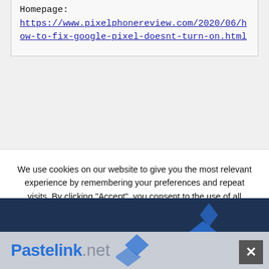Homepage:
https://www.pixelphonereview.com/2020/06/how-to-fix-google-pixel-doesnt-turn-on.html
We use cookies on our website to give you the most relevant experience by remembering your preferences and repeat visits. By clicking “Accept”, you consent to the use of all cookies.
Accept
[Figure (logo): Pastelink.net logo with diamond/arrow icons on dark navy and grey background footer bar]